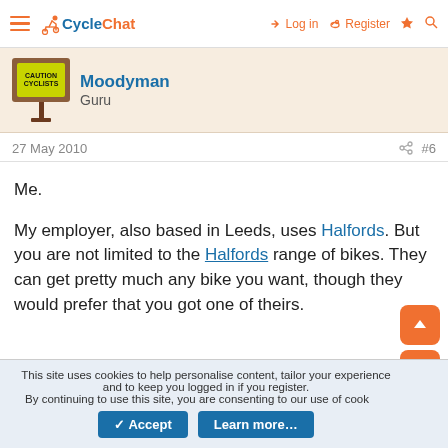CycleChat — Log in  Register
[Figure (other): User avatar: Caution Cyclists road sign on a brown post]
Moodyman
Guru
27 May 2010  #6
Me.

My employer, also based in Leeds, uses Halfords. But you are not limited to the Halfords range of bikes. They can get pretty much any bike you want, though they would prefer that you got one of theirs.
This site uses cookies to help personalise content, tailor your experience and to keep you logged in if you register.
By continuing to use this site, you are consenting to our use of cookies.